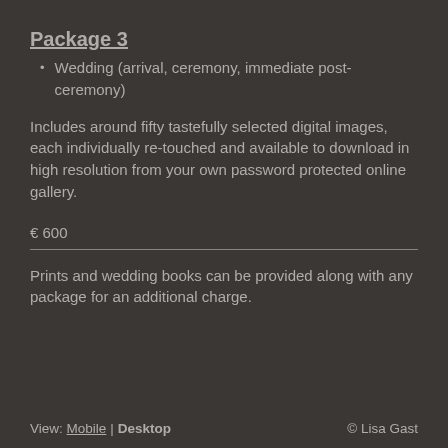Package 3
Wedding (arrival, ceremony, immediate post-ceremony)
Includes around fifty tastefully selected digital images, each individually re-touched and available to download in high resolution from your own password protected online gallery.
€ 600
Prints and wedding books can be provided along with any package for an additional charge.
View: Mobile | Desktop   © Lisa Gast